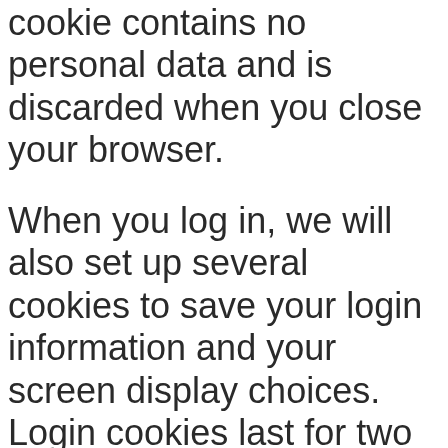cookie contains no personal data and is discarded when you close your browser.
When you log in, we will also set up several cookies to save your login information and your screen display choices. Login cookies last for two days, and screen options cookies last for a year. If you select “Remember Me”, your login will persist for two weeks. If you log out of your account, the login cookies will be removed.